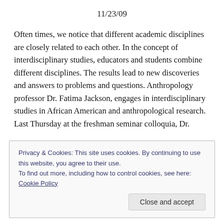11/23/09
Often times, we notice that different academic disciplines are closely related to each other. In the concept of interdisciplinary studies, educators and students combine different disciplines. The results lead to new discoveries and answers to problems and questions. Anthropology professor Dr. Fatima Jackson, engages in interdisciplinary studies in African American and anthropological research. Last Thursday at the freshman seminar colloquia, Dr.
Privacy & Cookies: This site uses cookies. By continuing to use this website, you agree to their use.
To find out more, including how to control cookies, see here: Cookie Policy